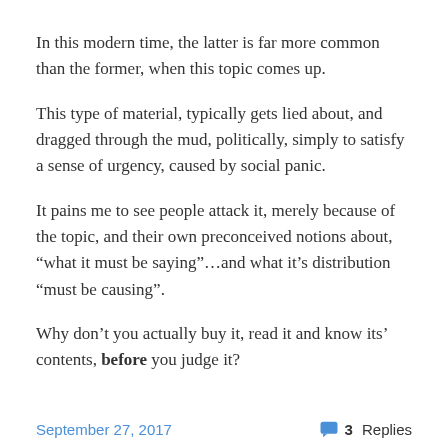In this modern time, the latter is far more common than the former, when this topic comes up.
This type of material, typically gets lied about, and dragged through the mud, politically, simply to satisfy a sense of urgency, caused by social panic.
It pains me to see people attack it, merely because of the topic, and their own preconceived notions about, “what it must be saying”…and what it’s distribution “must be causing”.
Why don’t you actually buy it, read it and know its’ contents, before you judge it?
September 27, 2017    3 Replies